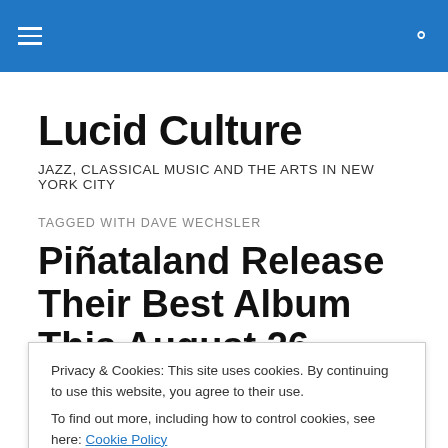Lucid Culture — navigation header bar
Lucid Culture
JAZZ, CLASSICAL MUSIC AND THE ARTS IN NEW YORK CITY
TAGGED WITH DAVE WECHSLER
Piñataland Release Their Best Album This August 26
Privacy & Cookies: This site uses cookies. By continuing to use this website, you agree to their use.
To find out more, including how to control cookies, see here: Cookie Policy
Hymns for the Dreadful Night … streaming in its entirety